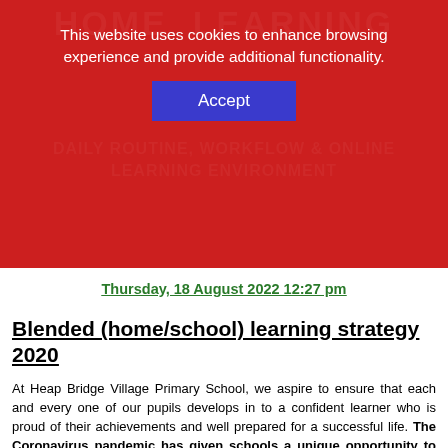HOME LEARNING
This website uses cookies to enhance browsing experience and provide additional functionality.
Accept
DAILY ROUTINE, WORKFLOW & ONLINE LEARNING ENVIRONMENT
Thursday, 18 August 2022 12:27 pm
Blended (home/school) learning strategy 2020
At Heap Bridge Village Primary School, we aspire to ensure that each and every one of our pupils develops in to a confident learner who is proud of their achievements and well prepared for a successful life. The Coronavirus pandemic has given schools a unique opportunity to truely develop our teaching and learning strategies to develop and integrate with the learning potential inherent with an online environment.